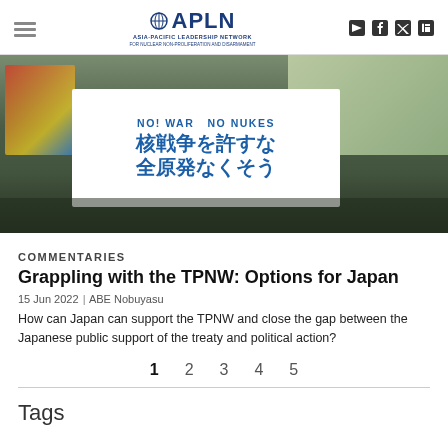APLN - Asia-Pacific Leadership Network
[Figure (photo): Protest march with people carrying a large white banner reading 'NO! WAR  NO NUKES' in English and Japanese anti-nuclear slogans in blue text. Crowd carries colorful flags in the background.]
COMMENTARIES
Grappling with the TPNW: Options for Japan
15 Jun 2022 | ABE Nobuyasu
How can Japan can support the TPNW and close the gap between the Japanese public support of the treaty and political action?
1  2  3  4  5
Tags